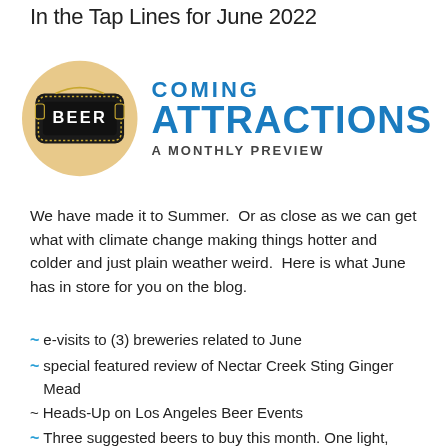In the Tap Lines for June 2022
[Figure (logo): Beer Coming Attractions - A Monthly Preview logo. A tan/beige circle containing a marquee-style dark sign with 'BEER' in white text, next to bold blue text reading 'COMING ATTRACTIONS' and smaller bold text 'A MONTHLY PREVIEW'.]
We have made it to Summer.  Or as close as we can get what with climate change making things hotter and colder and just plain weather weird.  Here is what June has in store for you on the blog.
~ e-visits to (3) breweries related to June
~ special featured review of Nectar Creek Sting Ginger Mead
~ Heads-Up on Los Angeles Beer Events
~ Three suggested beers to buy this month. One light,